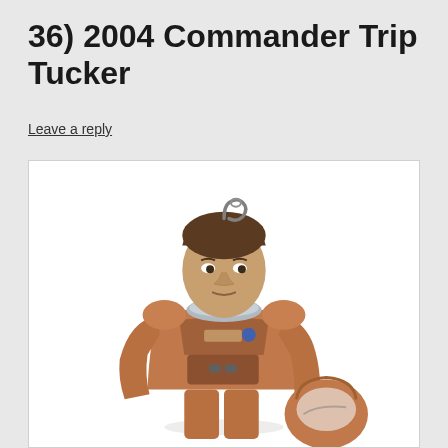36) 2004 Commander Trip Tucker
Leave a reply
[Figure (photo): A Hallmark Keepsake ornament figure of Commander Trip Tucker from Star Trek Enterprise (2004). The figure depicts a man in a copper/bronze metallic space suit holding a helmet under his arm. The suit has a silver collar/neck ring. A small metal hanging loop is visible at the top of the figure's head. The background is white.]